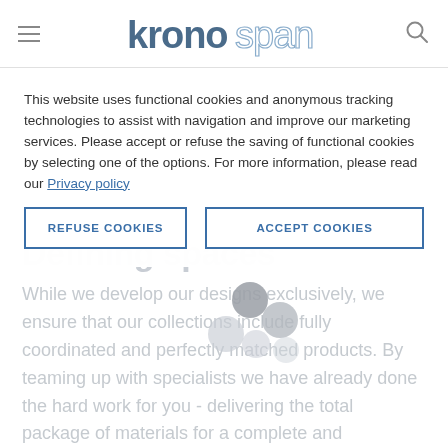kronospan
This website uses functional cookies and anonymous tracking technologies to assist with navigation and improve our marketing services. Please accept or refuse the saving of functional cookies by selecting one of the options. For more information, please read our Privacy policy
REFUSE COOKIES | ACCEPT COOKIES
Defining spaces
While we develop our designs exclusively, we ensure that our collections include fully coordinated and perfectly matched products. By teaming up with specialists we have already done the hard work for you - delivering the total package of materials for a complete and coordinated interior.